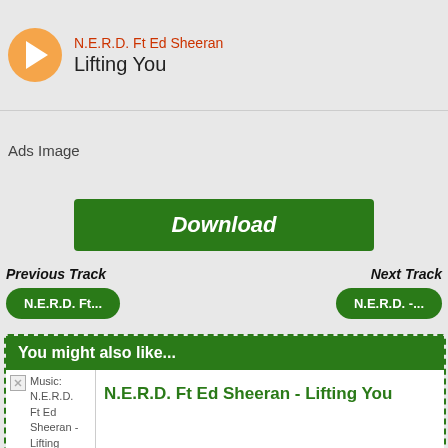[Figure (other): Orange circular play button with white triangle]
N.E.R.D. Ft Ed Sheeran
Lifting You
[Figure (other): Ads Image placeholder]
Download
Previous Track
Next Track
N.E.R.D. Ft...
N.E.R.D. -...
You might also like...
[Figure (other): Music: N.E.R.D. Ft Ed Sheeran - Lifting You thumbnail]
N.E.R.D. Ft Ed Sheeran - Lifting You
[Figure (other): Music thumbnail second item]